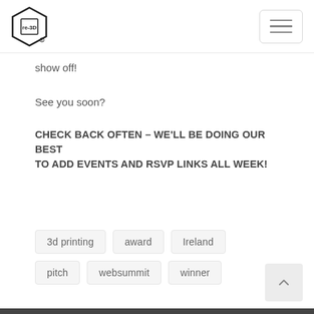re-3D logo and navigation menu
show off!
See you soon?
CHECK BACK OFTEN – WE'LL BE DOING OUR BEST TO ADD EVENTS AND RSVP LINKS ALL WEEK!
3d printing
award
Ireland
pitch
websummit
winner